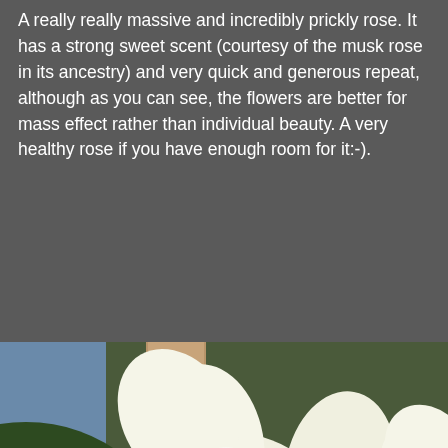A really really massive and incredibly prickly rose. It has a strong sweet scent (courtesy of the musk rose in its ancestry) and very quick and generous repeat, although as you can see, the flowers are better for mass effect rather than individual beauty. A very healthy rose if you have enough room for it:-).
[Figure (photo): Close-up photograph of white multi-petaled roses with yellow centers surrounded by green leaves, with a wooden post visible in the background.]
[Figure (photo): Photograph of white roses blooming on a bush or climber against a blue sky background with green foliage.]